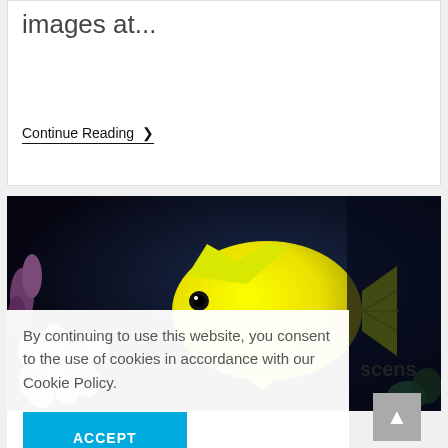images at...
Continue Reading ❯
[Figure (photo): A bright yellow tang fish swimming in a reef aquarium with sea anemones and coral in the background.]
By continuing to use this website, you consent to the use of cookies in accordance with our Cookie Policy.
ACCEPT
scens
-